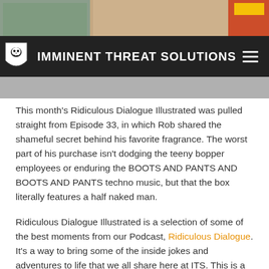[Figure (screenshot): Comic strip / website screenshot showing characters at top of page]
IMMINENT THREAT SOLUTIONS
This month's Ridiculous Dialogue Illustrated was pulled straight from Episode 33, in which Rob shared the shameful secret behind his favorite fragrance. The worst part of his purchase isn't dodging the teeny bopper employees or enduring the BOOTS AND PANTS AND BOOTS AND PANTS techno music, but that the box literally features a half naked man.
Ridiculous Dialogue Illustrated is a selection of some of the best moments from our Podcast, Ridiculous Dialogue. It's a way to bring some of the inside jokes and adventures to life that we all share here at ITS. This is a monthly comic strip that we're sure our devoted podcast listeners will relate to